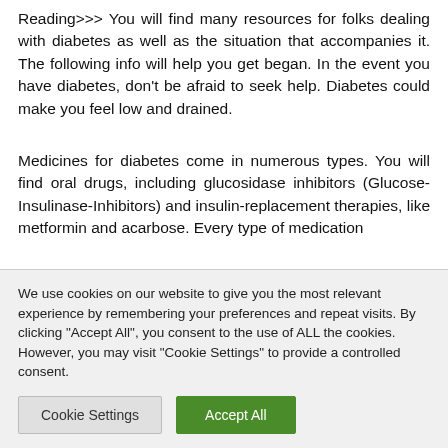Reading>>> You will find many resources for folks dealing with diabetes as well as the situation that accompanies it. The following info will help you get began. In the event you have diabetes, don't be afraid to seek help. Diabetes could make you feel low and drained.
Medicines for diabetes come in numerous types. You will find oral drugs, including glucosidase inhibitors (Glucose-Insulinase-Inhibitors) and insulin-replacement therapies, like metformin and acarbose. Every type of medication
We use cookies on our website to give you the most relevant experience by remembering your preferences and repeat visits. By clicking "Accept All", you consent to the use of ALL the cookies. However, you may visit "Cookie Settings" to provide a controlled consent.